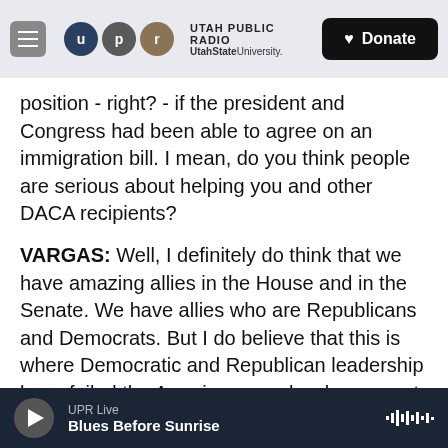Utah Public Radio — UtahState University | Donate
position - right? - if the president and Congress had been able to agree on an immigration bill. I mean, do you think people are serious about helping you and other DACA recipients?
VARGAS: Well, I definitely do think that we have amazing allies in the House and in the Senate. We have allies who are Republicans and Democrats. But I do believe that this is where Democratic and Republican leadership have failed the American people who support a path to citizenship. But I do have faith that the American people will respond to action, will demand leadership from our members
UPR Live | Blues Before Sunrise